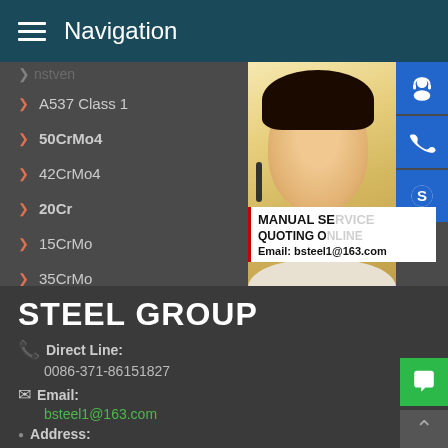Navigation
A537 Class 1
50CrMo4
42CrMo4
20Cr
15CrMo
35CrMo
A516
P235G
51CrV
12Cr1
40Cr
30CrMo
42CrMo
[Figure (photo): Customer service representative woman with headset, with blue icon buttons for support, phone, and Skype, plus contact popup showing MANUAL SE... QUOTING O... Email: bsteel1@163.com]
STEEL GROUP
Direct Line:
0086-371-86151827
Email:
bsteel1@163.com
Address: